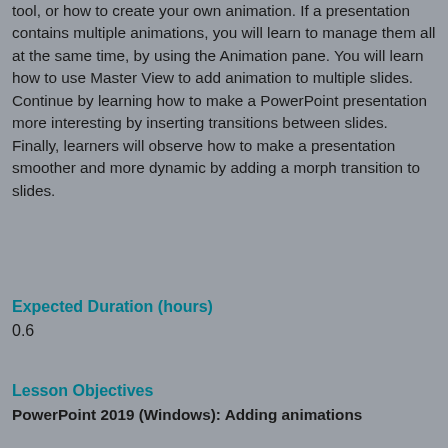tool, or how to create your own animation. If a presentation contains multiple animations, you will learn to manage them all at the same time, by using the Animation pane. You will learn how to use Master View to add animation to multiple slides. Continue by learning how to make a PowerPoint presentation more interesting by inserting transitions between slides. Finally, learners will observe how to make a presentation smoother and more dynamic by adding a morph transition to slides.
Expected Duration (hours)
0.6
Lesson Objectives
PowerPoint 2019 (Windows): Adding animations